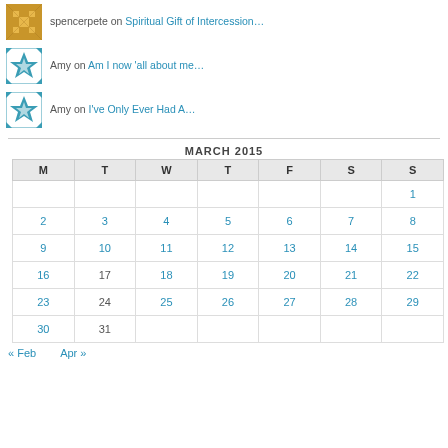spencerpete on Spiritual Gift of Intercession...
Amy on Am I now 'all about me'...
Amy on I've Only Ever Had A...
| M | T | W | T | F | S | S |
| --- | --- | --- | --- | --- | --- | --- |
|  |  |  |  |  |  | 1 |
| 2 | 3 | 4 | 5 | 6 | 7 | 8 |
| 9 | 10 | 11 | 12 | 13 | 14 | 15 |
| 16 | 17 | 18 | 19 | 20 | 21 | 22 |
| 23 | 24 | 25 | 26 | 27 | 28 | 29 |
| 30 | 31 |  |  |  |  |  |
« Feb   Apr »